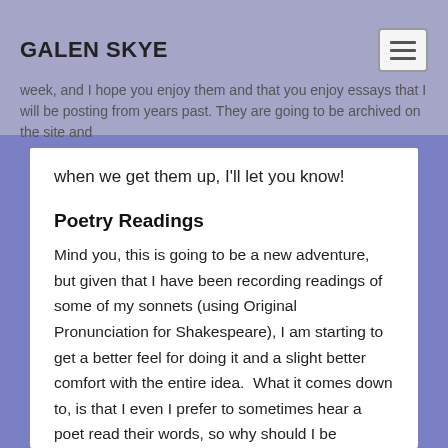GALEN SKYE
week, and I hope you enjoy them and that you enjoy essays that I will be posting from years past. They are going to be archived on the site and when we get them up, I'll let you know!
Poetry Readings
Mind you, this is going to be a new adventure, but given that I have been recording readings of some of my sonnets (using Original Pronunciation for Shakespeare), I am starting to get a better feel for doing it and a slight better comfort with the entire idea. What it comes down to, is that I even I prefer to sometimes hear a poet read their words, so why should I be surprised that others want that of me, too. Keep an eye out!
Whispers in Twilight